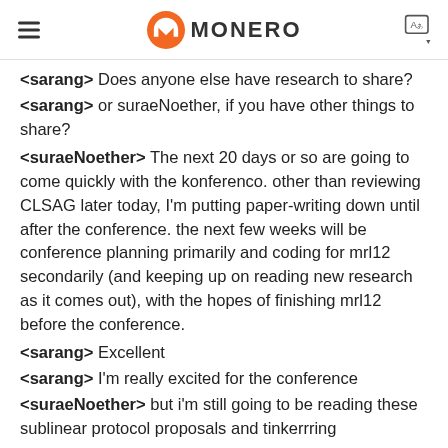MONERO
<sarang> Does anyone else have research to share?
<sarang> or suraeNoether, if you have other things to share?
<suraeNoether> The next 20 days or so are going to come quickly with the konferenco. other than reviewing CLSAG later today, I'm putting paper-writing down until after the conference. the next few weeks will be conference planning primarily and coding for mrl12 secondarily (and keeping up on reading new research as it comes out), with the hopes of finishing mrl12 before the conference.
<sarang> Excellent
<sarang> I'm really excited for the conference
<suraeNoether> but i'm still going to be reading these sublinear protocol proposals and tinkerrring